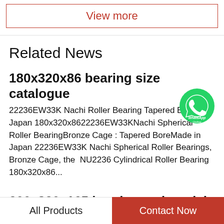View more
Related News
180x320x86 bearing size catalogue
22236EW33K Nachi Roller Bearing Tapered Bore Japan 180x320x8622236EW33KNachi Spherical Roller BearingBronze Cage : Tapered BoreMade in Japan 22236EW33K Nachi Spherical Roller Bearings, Bronze Cage, the NU2236 Cylindrical Roller Bearing 180x320x86...
200x320x165 bearing cad model
IKO GE200GS-2RS bearing, 200x320x165,
All Products    Contact Now